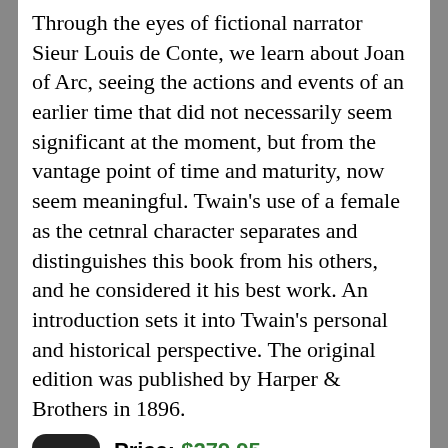Through the eyes of fictional narrator Sieur Louis de Conte, we learn about Joan of Arc, seeing the actions and events of an earlier time that did not necessarily seem significant at the moment, but from the vantage point of time and maturity, now seem meaningful. Twain's use of a female as the cetnral character separates and distinguishes this book from his others, and he considered it his best work. An introduction sets it into Twain's personal and historical perspective. The original edition was published by Harper & Brothers in 1896.
Price: $279.95
Add to Cart
Martha Dickinson Bianchi
(1866-1943): An American Poet of